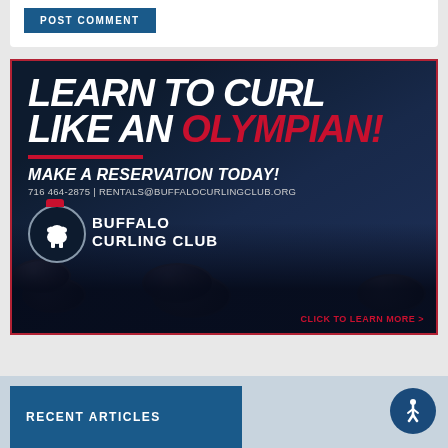POST COMMENT
[Figure (illustration): Buffalo Curling Club advertisement. Dark navy background with curling stones. Text reads: LEARN TO CURL LIKE AN OLYMPIAN! MAKE A RESERVATION TODAY! 716 464-2875 | RENTALS@BUFFALOCURLINGCLUB.ORG. Buffalo Curling Club logo with bison. CLICK TO LEARN MORE >]
RECENT ARTICLES